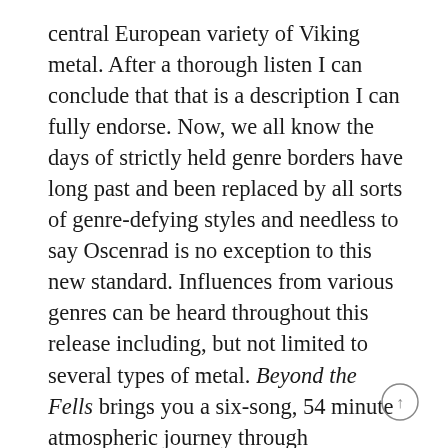central European variety of Viking metal. After a thorough listen I can conclude that that is a description I can fully endorse. Now, we all know the days of strictly held genre borders have long past and been replaced by all sorts of genre-defying styles and needless to say Oscenrad is no exception to this new standard. Influences from various genres can be heard throughout this release including, but not limited to several types of metal. Beyond the Fells brings you a six-song, 54 minute atmospheric journey through Hæðenwulf's musical display cabinet that, I must admit, is already richly filled. The lyrical themes, that, according to the website, find their roots in Paganism, history, poetry, folklore and mythology as well as other, more introspective topics, such as philosophy and spirituality (or the lack thereof in the modern world), adding depth to the already quite complex songs.